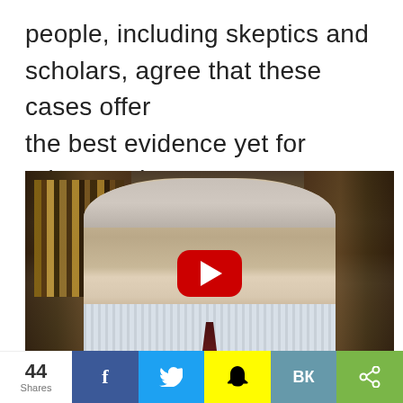people, including skeptics and scholars, agree that these cases offer the best evidence yet for reincarnation.
[Figure (screenshot): YouTube video thumbnail showing an elderly man with gray hair in front of a bookshelf, with a red YouTube play button overlay in the center.]
44 Shares